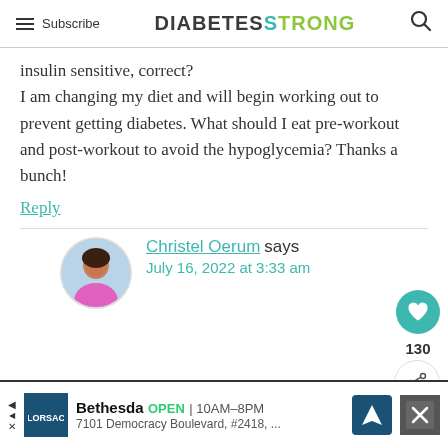Subscribe | DIABETESTRONG
insulin sensitive, correct?

I am changing my diet and will begin working out to prevent getting diabetes. What should I eat pre-workout and post-workout to avoid the hypoglycemia? Thanks a bunch!
Reply
Christel Oerum says
July 16, 2022 at 3:33 am